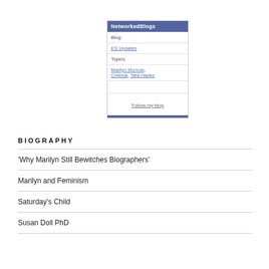[Figure (screenshot): NetworkedBlogs widget showing Blog: ES Updates, Topics: Marilyn Monroe, Cinema, Tara Hanks, with a Follow my blog button]
BIOGRAPHY
'Why Marilyn Still Bewitches Biographers'
Marilyn and Feminism
Saturday's Child
Susan Doll PhD